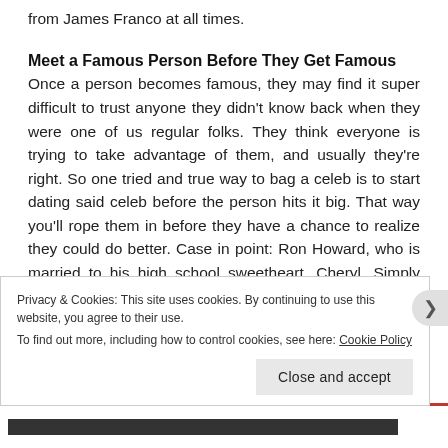from James Franco at all times.
Meet a Famous Person Before They Get Famous
Once a person becomes famous, they may find it super difficult to trust anyone they didn't know back when they were one of us regular folks. They think everyone is trying to take advantage of them, and usually they're right. So one tried and true way to bag a celeb is to start dating said celeb before the person hits it big. That way you'll rope them in before they have a chance to realize they could do better. Case in point: Ron Howard, who is married to his high school sweetheart, Cheryl. Simply treat everyone you meet like they might be a winning
Privacy & Cookies: This site uses cookies. By continuing to use this website, you agree to their use.
To find out more, including how to control cookies, see here: Cookie Policy